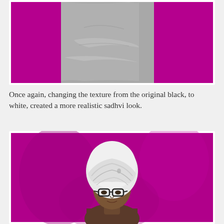[Figure (photo): A 3D rendered image showing a gray fabric/cloth texture (resembling a sadhvi head covering wrap) against a vivid magenta/purple background. The garment is white/gray colored.]
Once again, changing the texture from the original black, to white, created a more realistic sadhvi look.
[Figure (photo): A 3D rendered avatar/character wearing a white sadhvi head wrap and black-rimmed glasses, shown from upper body up against a vivid magenta/purple background.]